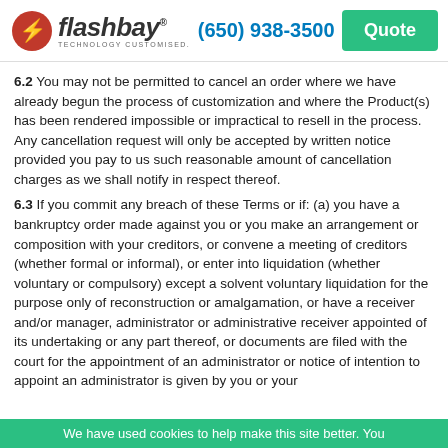flashbay TECHNOLOGY CUSTOMISED. (650) 938-3500 Quote
6.2 You may not be permitted to cancel an order where we have already begun the process of customization and where the Product(s) has been rendered impossible or impractical to resell in the process. Any cancellation request will only be accepted by written notice provided you pay to us such reasonable amount of cancellation charges as we shall notify in respect thereof.
6.3 If you commit any breach of these Terms or if: (a) you have a bankruptcy order made against you or you make an arrangement or composition with your creditors, or convene a meeting of creditors (whether formal or informal), or enter into liquidation (whether voluntary or compulsory) except a solvent voluntary liquidation for the purpose only of reconstruction or amalgamation, or have a receiver and/or manager, administrator or administrative receiver appointed of its undertaking or any part thereof, or documents are filed with the court for the appointment of an administrator or notice of intention to appoint an administrator is given by you or your
We have used cookies to help make this site better. You